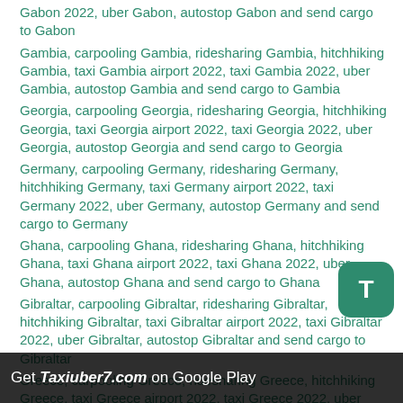Gabon 2022, uber Gabon, autostop Gabon and send cargo to Gabon
Gambia, carpooling Gambia, ridesharing Gambia, hitchhiking Gambia, taxi Gambia airport 2022, taxi Gambia 2022, uber Gambia, autostop Gambia and send cargo to Gambia
Georgia, carpooling Georgia, ridesharing Georgia, hitchhiking Georgia, taxi Georgia airport 2022, taxi Georgia 2022, uber Georgia, autostop Georgia and send cargo to Georgia
Germany, carpooling Germany, ridesharing Germany, hitchhiking Germany, taxi Germany airport 2022, taxi Germany 2022, uber Germany, autostop Germany and send cargo to Germany
Ghana, carpooling Ghana, ridesharing Ghana, hitchhiking Ghana, taxi Ghana airport 2022, taxi Ghana 2022, uber Ghana, autostop Ghana and send cargo to Ghana
Gibraltar, carpooling Gibraltar, ridesharing Gibraltar, hitchhiking Gibraltar, taxi Gibraltar airport 2022, taxi Gibraltar 2022, uber Gibraltar, autostop Gibraltar and send cargo to Gibraltar
Greece, carpooling Greece, ridesharing Greece, hitchhiking Greece, taxi Greece airport 2022, taxi Greece 2022, uber Greece, autostop Greece and send cargo to Greece
[Figure (other): Green T button overlay for Taxiuber7 app]
Get Taxiuber7.com on Google Play